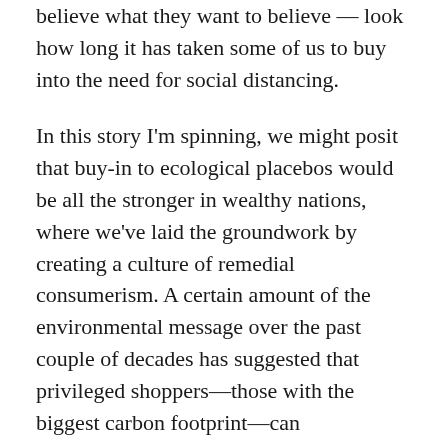believe what they want to believe — look how long it has taken some of us to buy into the need for social distancing.
In this story I'm spinning, we might posit that buy-in to ecological placebos would be all the stronger in wealthy nations, where we've laid the groundwork by creating a culture of remedial consumerism. A certain amount of the environmental message over the past couple of decades has suggested that privileged shoppers—those with the biggest carbon footprint—can A/S/S/U/A/G/E/ O/U/R G/U/I/L/T/ make a real difference to the planet's feverish future … all by shopping green. Never mind giving up our cars—if our diapers are unbleached bamboo cotton, if our organic foods have been sprayed